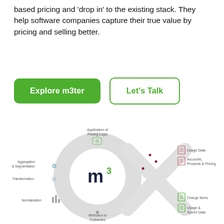based pricing and 'drop in' to the existing stack. They help software companies capture their true value by pricing and selling better.
[Figure (infographic): Two call-to-action buttons: 'Explore m3ter' (green filled) and 'Let's Talk' (green outline)]
[Figure (infographic): m3ter platform circular diagram showing: Application of Pricing Logic, Aggregation & Segmentation, Transformation, Normalization, Attribution to Customers in a ring with m3 logo center, and external nodes: Usage Data, Accounts Products & Pricing (input), Charge Items, Usage & Spend Data (output)]